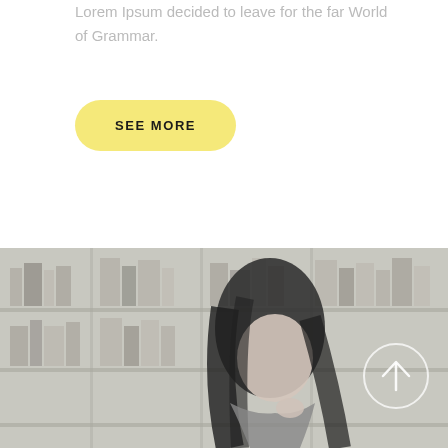Lorem Ipsum decided to leave for the far World of Grammar.
SEE MORE
[Figure (photo): Black and white photo of a young woman with long dark hair studying or reading, seated in front of a bookshelf. A circular arrow (up arrow) icon is overlaid on the right side of the image.]